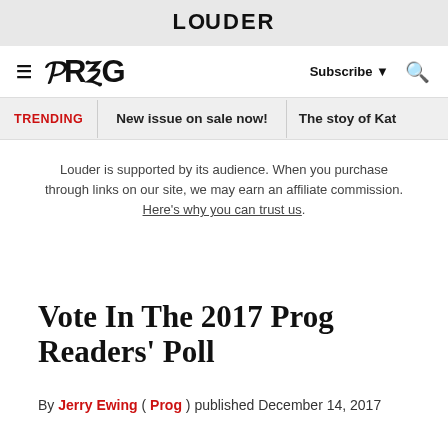LOUDER
[Figure (logo): PROG magazine logo with hamburger menu icon, Subscribe button with dropdown arrow, and search icon]
TRENDING  New issue on sale now!  The stoy of Kat
Louder is supported by its audience. When you purchase through links on our site, we may earn an affiliate commission. Here's why you can trust us.
Vote In The 2017 Prog Readers' Poll
By Jerry Ewing ( Prog ) published December 14, 2017